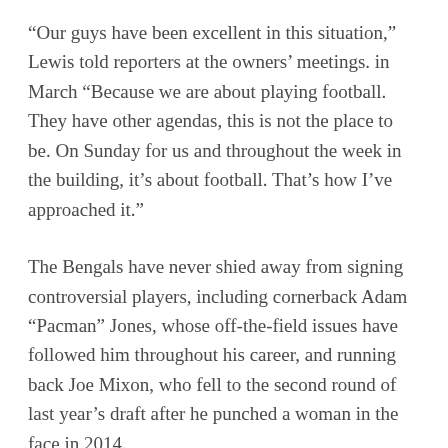“Our guys have been excellent in this situation,” Lewis told reporters at the owners’ meetings. in March “Because we are about playing football. They have other agendas, this is not the place to be. On Sunday for us and throughout the week in the building, it’s about football. That’s how I’ve approached it.”
The Bengals have never shied away from signing controversial players, including cornerback Adam “Pacman” Jones, whose off-the-field issues have followed him throughout his career, and running back Joe Mixon, who fell to the second round of last year’s draft after he punched a woman in the face in 2014.
Reid was a first-round pick by the 49ers in 2013 and made the Pro Bowl as a rookie. He has been a strong player throughout his career, playing strong